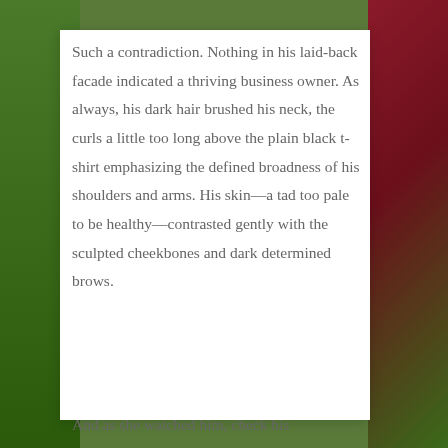Such a contradiction. Nothing in his laid-back facade indicated a thriving business owner. As always, his dark hair brushed his neck, the curls a little too long above the plain black t-shirt emphasizing the defined broadness of his shoulders and arms. His skin—a tad too pale to be healthy—contrasted gently with the sculpted cheekbones and dark determined brows.
And as she watched him, check his